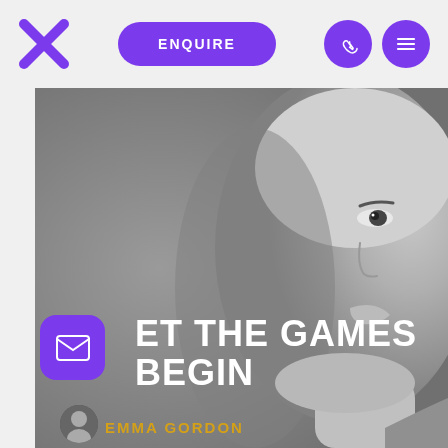Navigation bar with X logo, ENQUIRE button, phone icon, and menu icon
[Figure (photo): Grayscale close-up photo of a person's face, right side, looking upward and to the left. The face fills the right portion of the image.]
ET THE GAMES BEGIN
Emma Gordon (author name in gold/yellow)